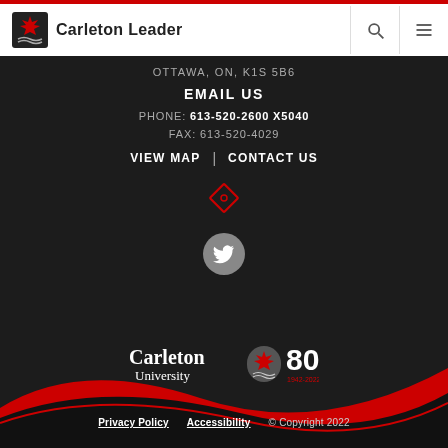Carleton Leader
OTTAWA, ON, K1S 5B6
EMAIL US
PHONE: 613-520-2600 X5040
FAX: 613-520-4029
VIEW MAP | CONTACT US
[Figure (logo): Diamond/gem icon in red outline]
[Figure (logo): Twitter bird icon in circular grey button]
[Figure (logo): Carleton University 80th anniversary logo with maple leaf and '80 1942-2022']
Privacy Policy   Accessibility   © Copyright 2022